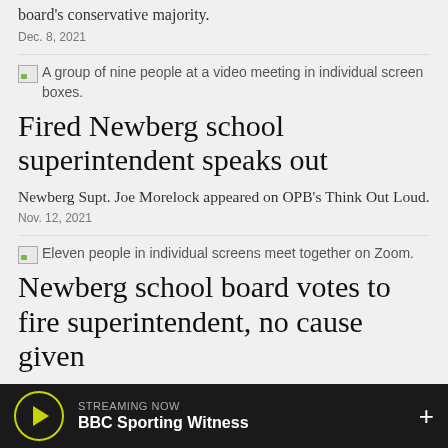board's conservative majority.
Dec. 8, 2021
[Figure (photo): A group of nine people at a video meeting in individual screen boxes.]
Fired Newberg school superintendent speaks out
Newberg Supt. Joe Morelock appeared on OPB's Think Out Loud.
Nov. 12, 2021
[Figure (photo): Eleven people in individual screens meet together on Zoom.]
Newberg school board votes to fire superintendent, no cause given
STREAMING NOW BBC Sporting Witness